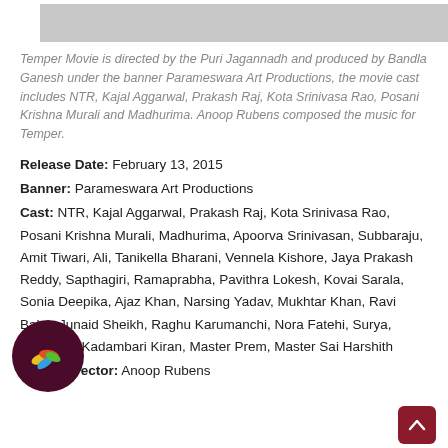[Figure (other): Gray image placeholder at top of page]
Temper Movie is directed by the Puri Jagannadh and produced by Bandla Ganesh under the banner Parameswara Art Productions, the movie cast includes NTR, Kajal Aggarwal, Prakash Raj, Kota Srinivasa Rao, Posani Krishna Murali and Madhurima. Anoop Rubens composed the music for Temper.
Release Date: February 13, 2015
Banner: Parameswara Art Productions
Cast: NTR, Kajal Aggarwal, Prakash Raj, Kota Srinivasa Rao, Posani Krishna Murali, Madhurima, Apoorva Srinivasan, Subbaraju, Amit Tiwari, Ali, Tanikella Bharani, Vennela Kishore, Jaya Prakash Reddy, Sapthagiri, Ramaprabha, Pavithra Lokesh, Kovai Sarala, Sonia Deepika, Ajaz Khan, Narsing Yadav, Mukhtar Khan, Ravi Babu, Junaid Sheikh, Raghu Karumanchi, Nora Fatehi, Surya, Banerjee, Kadambari Kiran, Master Prem, Master Sai Harshith
Music Director: Anoop Rubens